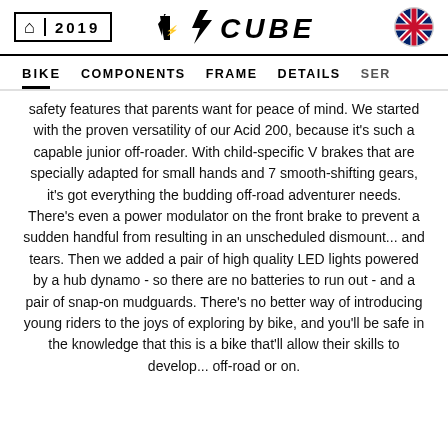2019 CUBE
BIKE   COMPONENTS   FRAME   DETAILS   SE...
safety features that parents want for peace of mind. We started with the proven versatility of our Acid 200, because it's such a capable junior off-roader. With child-specific V brakes that are specially adapted for small hands and 7 smooth-shifting gears, it's got everything the budding off-road adventurer needs. There's even a power modulator on the front brake to prevent a sudden handful from resulting in an unscheduled dismount... and tears. Then we added a pair of high quality LED lights powered by a hub dynamo - so there are no batteries to run out - and a pair of snap-on mudguards. There's no better way of introducing young riders to the joys of exploring by bike, and you'll be safe in the knowledge that this is a bike that'll allow their skills to develop... off-road or on.